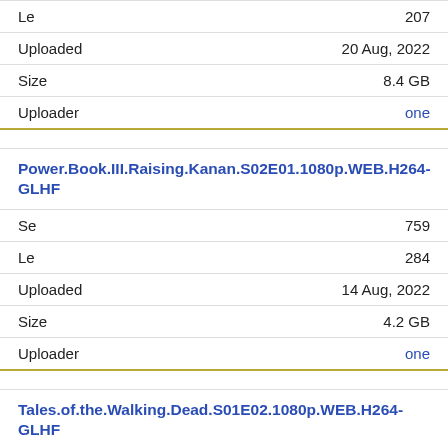| Field | Value |
| --- | --- |
| Le | 207 |
| Uploaded | 20 Aug, 2022 |
| Size | 8.4 GB |
| Uploader | one |
Power.Book.III.Raising.Kanan.S02E01.1080p.WEB.H264-GLHF
| Field | Value |
| --- | --- |
| Se | 759 |
| Le | 284 |
| Uploaded | 14 Aug, 2022 |
| Size | 4.2 GB |
| Uploader | one |
Tales.of.the.Walking.Dead.S01E02.1080p.WEB.H264-GLHF
| Field | Value |
| --- | --- |
| Se | 885 |